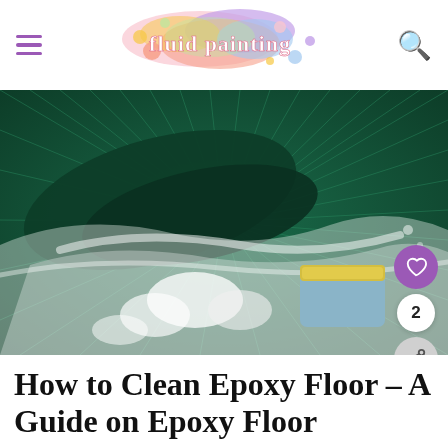fluid painting — navigation header with hamburger menu and search icon
[Figure (photo): Close-up photo of an epoxy floor being cleaned with a sponge/scrubber, showing dark green epoxy surface with white foam/suds and a blue-yellow sponge]
How to Clean Epoxy Floor – A Guide on Epoxy Floor Maintenance